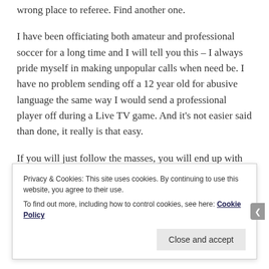wrong place to referee. Find another one.
I have been officiating both amateur and professional soccer for a long time and I will tell you this – I always pride myself in making unpopular calls when need be. I have no problem sending off a 12 year old for abusive language the same way I would send a professional player off during a Live TV game. And it's not easier said than done, it really is that easy.
If you will just follow the masses, you will end up with the masses. If you want to break out and have a shot at
Privacy & Cookies: This site uses cookies. By continuing to use this website, you agree to their use.
To find out more, including how to control cookies, see here: Cookie Policy